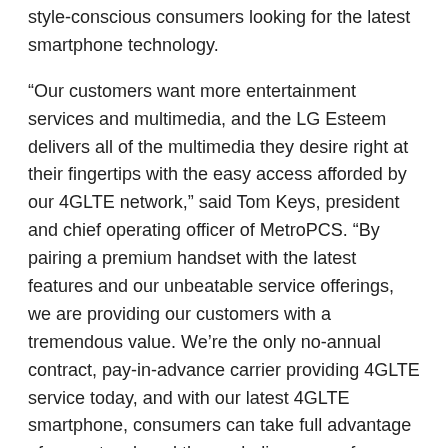style-conscious consumers looking for the latest smartphone technology.
“Our customers want more entertainment services and multimedia, and the LG Esteem delivers all of the multimedia they desire right at their fingertips with the easy access afforded by our 4GLTE network,” said Tom Keys, president and chief operating officer of MetroPCS. “By pairing a premium handset with the latest features and our unbeatable service offerings, we are providing our customers with a tremendous value. We’re the only no-annual contract, pay-in-advance carrier providing 4GLTE service today, and with our latest 4GLTE smartphone, consumers can take full advantage of our network and the exploding array of Android market applications available today.”
At about half the cost of other 4G smartphone service plans today, consumers can truly have it all with MetroPCS’ $50 and $60 4GLTE plans, which include all applicable taxes and regulatory fees. For just $60, consumers can choose between unlimited music with Rhapsody or video entertainment with